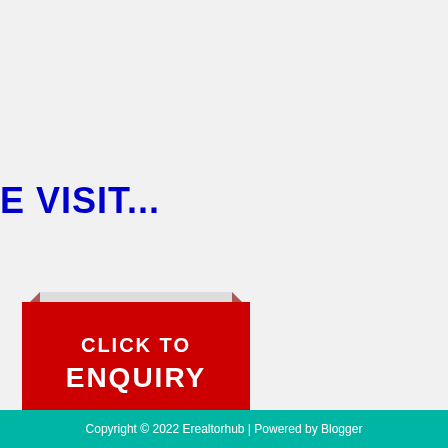E VISIT...
[Figure (illustration): Red ribbon/banner button with text 'CLICK TO ENQUIRY' in white bold letters on a red background with a folded ribbon design]
Copyright © 2022 Erealtorhub | Powered by Blogger